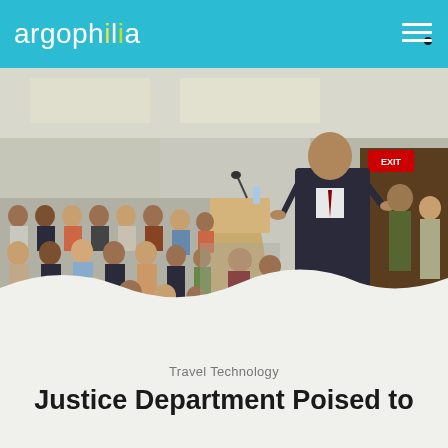argophilia
[Figure (photo): A man in a dark suit speaks at a wooden podium in a conference room. A large audience of men and women sit in rows facing him. An EXIT sign is visible on the wall behind him.]
Travel Technology
Justice Department Poised to